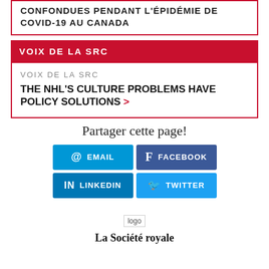CONFONDUES PENDANT L'ÉPIDÉMIE DE COVID-19 AU CANADA
VOIX DE LA SRC
VOIX DE LA SRC
THE NHL'S CULTURE PROBLEMS HAVE POLICY SOLUTIONS >
Partager cette page!
@ EMAIL
f FACEBOOK
in LINKEDIN
TWITTER
[Figure (logo): Logo placeholder image]
La Société royale